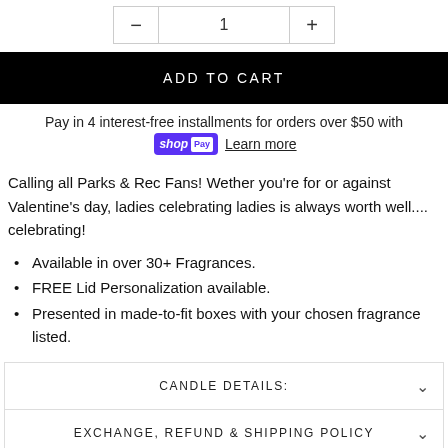- 1 +
ADD TO CART
Pay in 4 interest-free installments for orders over $50 with shop Pay Learn more
Calling all Parks & Rec Fans! Wether you're for or against Valentine's day, ladies celebrating ladies is always worth well.... celebrating!
Available in over 30+ Fragrances.
FREE Lid Personalization available.
Presented in made-to-fit boxes with your chosen fragrance listed.
CANDLE DETAILS:
EXCHANGE, REFUND & SHIPPING POLICY